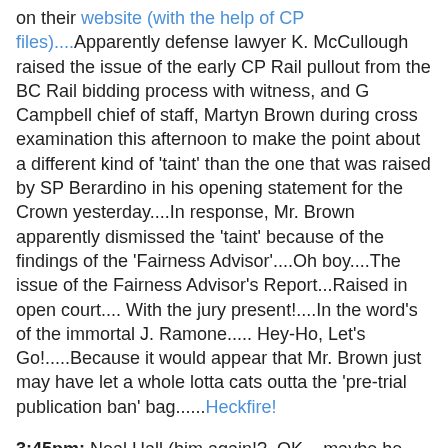on their website (with the help of CP files)....Apparently defense lawyer K. McCullough raised the issue of the early CP Rail pullout from the BC Rail bidding process with witness, and G Campbell chief of staff, Martyn Brown during cross examination this afternoon to make the point about a different kind of 'taint' than the one that was raised by SP Berardino in his opening statement for the Crown yesterday....In response, Mr. Brown apparently dismissed the 'taint' because of the findings of the 'Fairness Advisor'....Oh boy....The issue of the Fairness Advisor's Report...Raised in open court.... With the jury present!....In the word's of the immortal J. Ramone..... Hey-Ho, Let's Go!.....Because it would appear that Mr. Brown just may have let a whole lotta cats outta the 'pre-trial publication ban' bag......Heckfire!
3:45pm: Neal Hall (him again!?, OK....maybe he can stay 'accredited' after all), is running with a new lede on K. McCullough's and the defense' strategy, which is that they will try to demonstrate that the fix was in, right from the beginning, for CN, and by extension, it's CEO, former chief BC Liberal Party fundraiser Mr. David MacLean, to win the bid for BC Rail's 'operations' from the get-go.....Again,